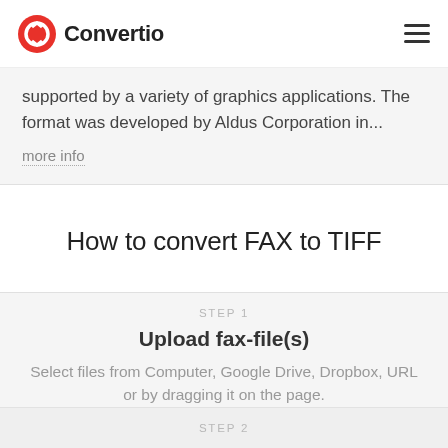Convertio
supported by a variety of graphics applications. The format was developed by Aldus Corporation in...
more info
How to convert FAX to TIFF
STEP 1
Upload fax-file(s)
Select files from Computer, Google Drive, Dropbox, URL or by dragging it on the page.
STEP 2